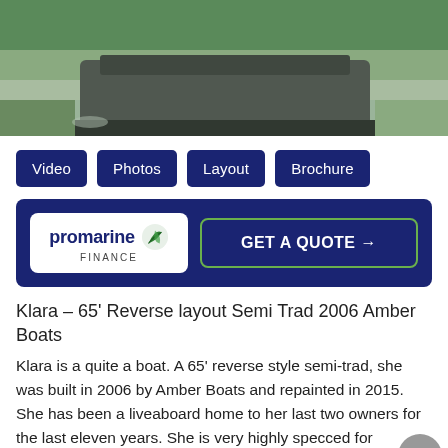[Figure (photo): Aerial/side view of a dark-hulled narrowboat moored at a canal bank with green grass visible]
[Figure (infographic): Navigation buttons: Video, Photos, Layout, Brochure — dark navy blue rounded rectangles]
[Figure (infographic): Promarine Finance banner with logo and GET A QUOTE button on dark navy background]
Klara – 65' Reverse layout Semi Trad 2006 Amber Boats
Klara is a quite a boat. A 65' reverse style semi-trad, she was built in 2006 by Amber Boats and repainted in 2015. She has been a liveaboard home to her last two owners for the last eleven years. She is very highly specced for comfortable living and has a huge amount of storage.
The well serviced Barrus Shire engine is under the semi trad stern deck. This leads down steps into